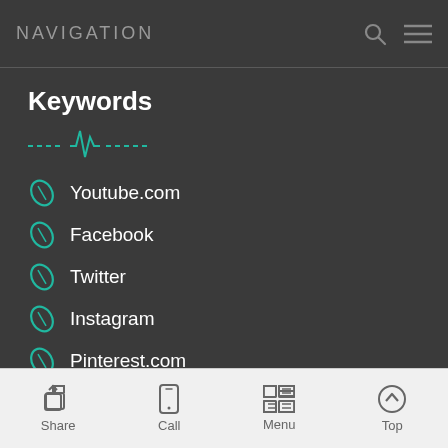NAVIGATION
Keywords
[Figure (other): Teal decorative divider line with a heartbeat/pulse spike in the center]
Youtube.com
Facebook
Twitter
Instagram
Pinterest.com
Subscribe
[Figure (other): Teal decorative divider line with a heartbeat/pulse spike in the center]
By subscribing to our mailing list you will be updated with the latest news
Share  Call  Menu  Top